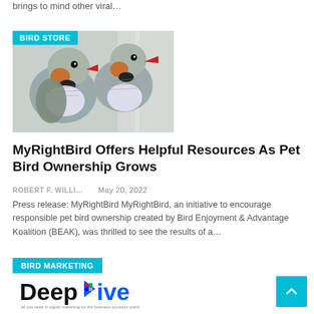brings to mind other viral…
BIRD STORE
[Figure (photo): Two zebra finches close-up, with orange cheek patches and red beaks, gray and white striped feathers]
MyRightBird Offers Helpful Resources As Pet Bird Ownership Grows
ROBERT F. WILLI…    May 20, 2022
Press release: MyRightBird MyRightBird, an initiative to encourage responsible pet bird ownership created by Bird Enjoyment & Advantage Koalition (BEAK), was thrilled to see the results of a…
BIRD MARKETING
[Figure (logo): DeepDive logo with colored play button triangle and tagline text below]